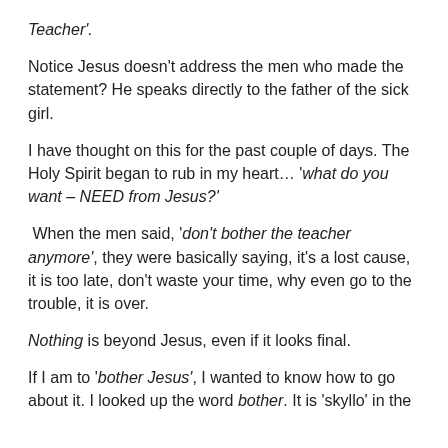Teacher'.
Notice Jesus doesn't address the men who made the statement?  He speaks directly to the father of the sick girl.
I have thought on this for the past couple of days.  The Holy Spirit began to rub in my heart… 'what do you want – NEED from Jesus?'
When the men said, 'don't bother the teacher anymore', they were basically saying, it's a lost cause, it is too late, don't waste your time, why even go to the trouble, it is over.
Nothing is beyond Jesus, even if it looks final.
If I am to 'bother Jesus',  I wanted to know how to go about it.  I looked up the word bother.  It is 'skyllo' in the